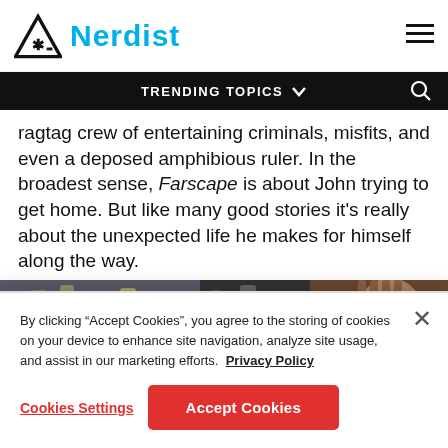Nerdist
TRENDING TOPICS
ragtag crew of entertaining criminals, misfits, and even a deposed amphibious ruler. In the broadest sense, Farscape is about John trying to get home. But like many good stories it's really about the unexpected life he makes for himself along the way.
[Figure (photo): A dark sci-fi scene showing characters from Farscape in a dimly lit metallic environment, including an alien figure on the right with ridged head.]
By clicking "Accept Cookies", you agree to the storing of cookies on your device to enhance site navigation, analyze site usage, and assist in our marketing efforts.  Privacy Policy
Cookies Settings
Accept Cookies